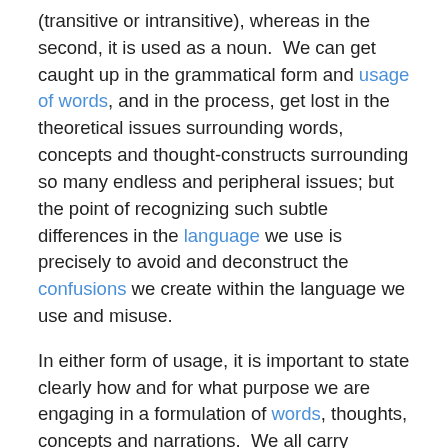(transitive or intransitive), whereas in the second, it is used as a noun.  We can get caught up in the grammatical form and usage of words, and in the process, get lost in the theoretical issues surrounding words, concepts and thought-constructs surrounding so many endless and peripheral issues; but the point of recognizing such subtle differences in the language we use is precisely to avoid and deconstruct the confusions we create within the language we use and misuse.
In either form of usage, it is important to state clearly how and for what purpose we are engaging in a formulation of words, thoughts, concepts and narrations.  We all carry narratives within ourselves that we must be ready, willing and able to use in order to describe, explain and delineate.  Those subtle differences that words create must always be untangled.